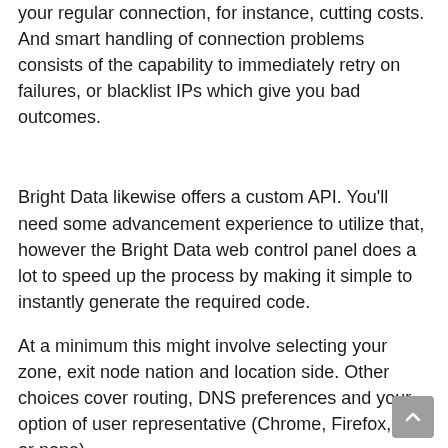your regular connection, for instance, cutting costs. And smart handling of connection problems consists of the capability to immediately retry on failures, or blacklist IPs which give you bad outcomes.
Bright Data likewise offers a custom API. You'll need some advancement experience to utilize that, however the Bright Data web control panel does a lot to speed up the process by making it simple to instantly generate the required code.
At a minimum this might involve selecting your zone, exit node nation and location side. Other choices cover routing, DNS preferences and your option of user representative (Chrome, Firefox, IE or none).